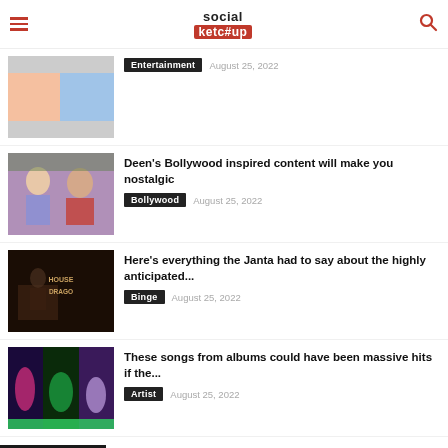social ketc#up
[Figure (photo): Thumbnail image for first article (partially visible, entertainment category)]
Entertainment  August 25, 2022
[Figure (photo): Two people in Bollywood-inspired poses]
Deen's Bollywood inspired content will make you nostalgic
Bollywood  August 25, 2022
[Figure (photo): House of the Dragon movie poster thumbnail]
Here's everything the Janta had to say about the highly anticipated...
Binge  August 25, 2022
[Figure (photo): Collage of three artists for album songs article]
These songs from albums could have been massive hits if the...
Artist  August 25, 2022
Recent Posts